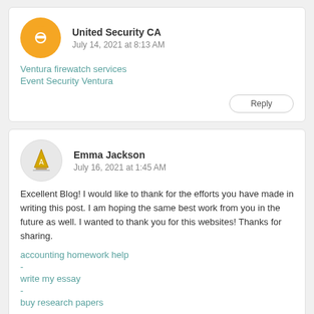United Security CA
July 14, 2021 at 8:13 AM
Ventura firewatch services
Event Security Ventura
Reply
Emma Jackson
July 16, 2021 at 1:45 AM
Excellent Blog! I would like to thank for the efforts you have made in writing this post. I am hoping the same best work from you in the future as well. I wanted to thank you for this websites! Thanks for sharing.
accounting homework help -
write my essay -
buy research papers
Reply